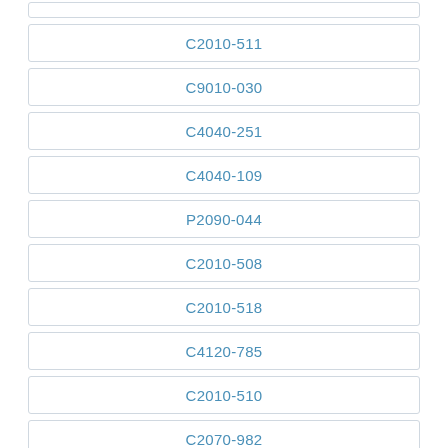C2010-511
C9010-030
C4040-251
C4040-109
P2090-044
C2010-508
C2010-518
C4120-785
C2010-510
C2070-982